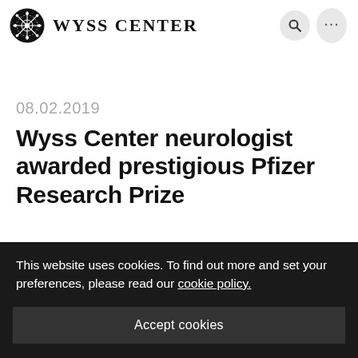Wyss Center
08.02.2019
Wyss Center neurologist awarded prestigious Pfizer Research Prize
This website uses cookies. To find out more and set your preferences, please read our cookie policy.
Accept cookies